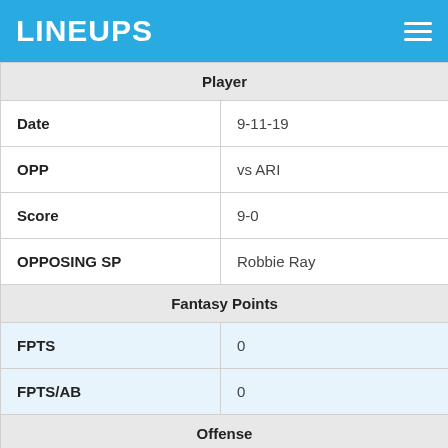LINEUPS
| Player |  |
| --- | --- |
| Date | 9-11-19 |
| OPP | vs ARI |
| Score | 9-0 |
| OPPOSING SP | Robbie Ray |
| Fantasy Points |  |
| FPTS | 0 |
| FPTS/AB | 0 |
| Offense |  |
| PA | 0 |
| H | 0 |
| 2B | 0 |
| 3B | 0 |